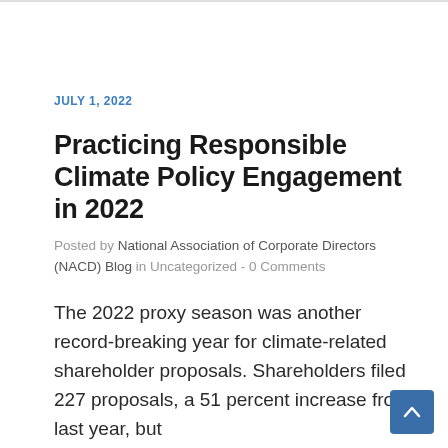JULY 1, 2022
Practicing Responsible Climate Policy Engagement in 2022
Posted by National Association of Corporate Directors (NACD) Blog in Uncategorized - 0 Comments
The 2022 proxy season was another record-breaking year for climate-related shareholder proposals. Shareholders filed 227 proposals, a 51 percent increase from last year, but